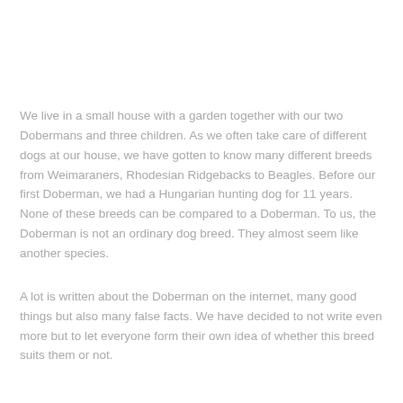We live in a small house with a garden together with our two Dobermans and three children. As we often take care of different dogs at our house, we have gotten to know many different breeds from Weimaraners, Rhodesian Ridgebacks to Beagles. Before our first Doberman, we had a Hungarian hunting dog for 11 years. None of these breeds can be compared to a Doberman. To us, the Doberman is not an ordinary dog breed. They almost seem like another species.
A lot is written about the Doberman on the internet, many good things but also many false facts. We have decided to not write even more but to let everyone form their own idea of whether this breed suits them or not.